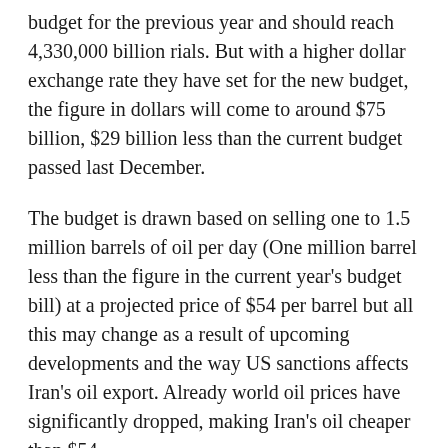budget for the previous year and should reach 4,330,000 billion rials. But with a higher dollar exchange rate they have set for the new budget, the figure in dollars will come to around $75 billion, $29 billion less than the current budget passed last December.
The budget is drawn based on selling one to 1.5 million barrels of oil per day (One million barrel less than the figure in the current year's budget bill) at a projected price of $54 per barrel but all this may change as a result of upcoming developments and the way US sanctions affects Iran's oil export. Already world oil prices have significantly dropped, making Iran's oil cheaper than $54.
It was reported in September that Iran may be considering reducing foodstuffs and other